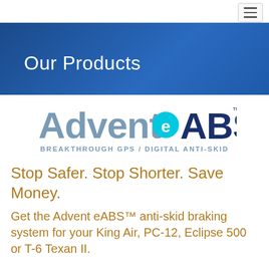Our Products
Home → Current eABS Certifications
[Figure (logo): Advent eABS logo with text 'BREAKTHROUGH GPS / DIGITAL ANTI-SKID']
Stop Safer. Stop Shorter. Save Money.
Get the Advent eABS™ anti-skid braking system for your King Air, PC-12, Eclipse 500 or T-6 Texan II.